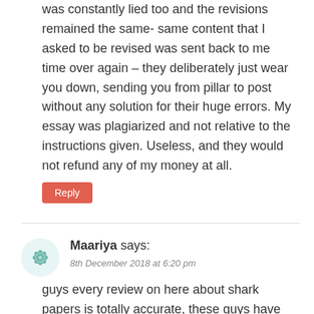was constantly lied too and the revisions remained the same- same content that I asked to be revised was sent back to me time over again – they deliberately just wear you down, sending you from pillar to post without any solution for their huge errors. My essay was plagiarized and not relative to the instructions given. Useless, and they would not refund any of my money at all.
Reply
Maariya says:
8th December 2018 at 6:20 pm
guys every review on here about shark papers is totally accurate, these guys have ripped me off completely! the writers do not follow the guidelines, they don't refund your money nor do they stick to the deadline, these are the last people on the world you want to go to I honestly cant tell